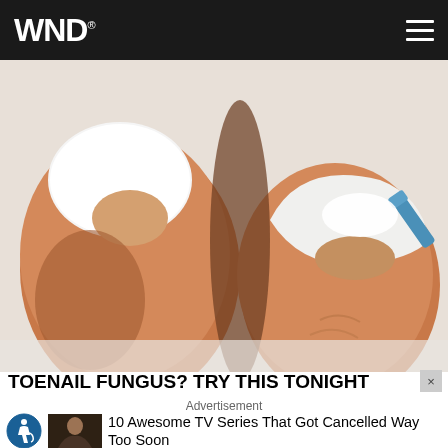WND
[Figure (illustration): Close-up illustration of two toes with toenails, one being treated with a blue tool applying white substance, suggesting a toenail fungus treatment advertisement]
TOENAIL FUNGUS? TRY THIS TONIGHT
Advertisement
[Figure (other): Accessibility icon — blue circular icon with wheelchair user symbol]
[Figure (photo): Small thumbnail image of a person, appears to be from a TV series]
10 Awesome TV Series That Got Cancelled Way Too Soon